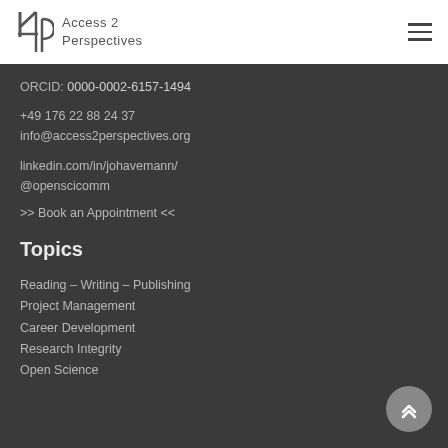[Figure (logo): Access 2 Perspectives logo with stylized '4p' symbol and text 'Access 2 Perspectives']
ORCID: 0000-0002-6157-1494
+49 176 22 88 24 37
info@access2perspectives.org
linkedin.com/in/johavemann/
@openscicomm
>> Book an Appointment <<
Topics
Reading – Writing – Publishing
Project Management
Career Development
Research Integrity
Open Science